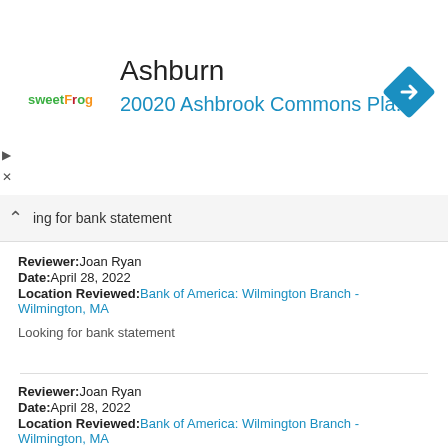[Figure (other): SweetFrog advertisement banner showing logo, 'Ashburn' title, and '20020 Ashbrook Commons Pla...' address with navigation icon]
ing for bank statement
Reviewer: Joan Ryan
Date: April 28, 2022
Location Reviewed: Bank of America: Wilmington Branch - Wilmington, MA

Looking for bank statement
Reviewer: Joan Ryan
Date: April 28, 2022
Location Reviewed: Bank of America: Wilmington Branch - Wilmington, MA

Looking for bank statement
Reviewer: Joan Ryan